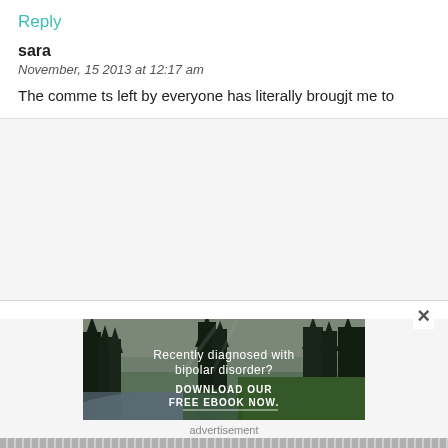Reply
sara
November, 15 2013 at 12:17 am
The comme ts left by everyone has literally brougjt me to
×
[Figure (photo): Forest scene with trees, river and green grass with overlaid text: 'Recently diagnosed with bipolar disorder? DOWNLOAD OUR FREE EBOOK NOW.']
advertisement